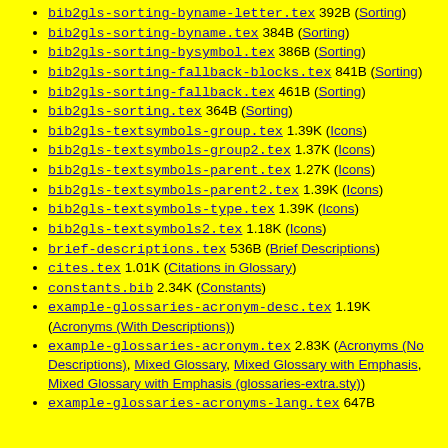bib2gls-sorting-byname-letter.tex 392B (Sorting)
bib2gls-sorting-byname.tex 384B (Sorting)
bib2gls-sorting-bysymbol.tex 386B (Sorting)
bib2gls-sorting-fallback-blocks.tex 841B (Sorting)
bib2gls-sorting-fallback.tex 461B (Sorting)
bib2gls-sorting.tex 364B (Sorting)
bib2gls-textsymbols-group.tex 1.39K (Icons)
bib2gls-textsymbols-group2.tex 1.37K (Icons)
bib2gls-textsymbols-parent.tex 1.27K (Icons)
bib2gls-textsymbols-parent2.tex 1.39K (Icons)
bib2gls-textsymbols-type.tex 1.39K (Icons)
bib2gls-textsymbols2.tex 1.18K (Icons)
brief-descriptions.tex 536B (Brief Descriptions)
cites.tex 1.01K (Citations in Glossary)
constants.bib 2.34K (Constants)
example-glossaries-acronym-desc.tex 1.19K (Acronyms (With Descriptions))
example-glossaries-acronym.tex 2.83K (Acronyms (No Descriptions), Mixed Glossary, Mixed Glossary with Emphasis, Mixed Glossary with Emphasis (glossaries-extra.sty))
example-glossaries-acronyms-lang.tex 647B